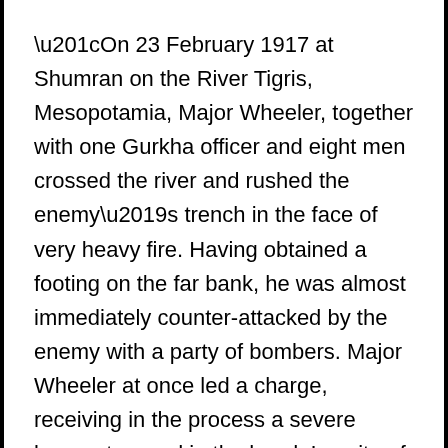“On 23 February 1917 at Shumran on the River Tigris, Mesopotamia, Major Wheeler, together with one Gurkha officer and eight men crossed the river and rushed the enemy’s trench in the face of very heavy fire. Having obtained a footing on the far bank, he was almost immediately counter-attacked by the enemy with a party of bombers. Major Wheeler at once led a charge, receiving in the process a severe bayonet wound in the head. In spite of this, however, he managed to disperse the enemy and consolidate his position.”
Two years later, Major Wheeler was decorated with the Victoria Cross by King George V at Buckingham Palace. He remained in the army and